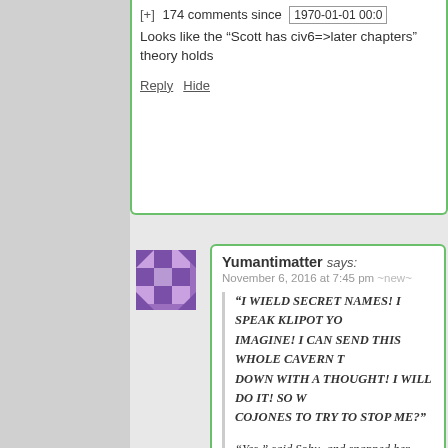[+] 174 comments since 1970-01-01 00:0
Looks like the “Scott has civ6=>later chapters” theory holds
Reply Hide
[Figure (illustration): Purple pixel/geometric avatar for user Yumantimatter]
Yumantimatter says:
November 6, 2016 at 7:45 pm ~new~
“I WIELD SECRET NAMES! I SPEAK KLIPOT YO IMAGINE! I CAN SEND THIS WHOLE CAVERN T DOWN WITH A THOUGHT! I WILL DO IT! SO W COJONES TO TRY TO STOP ME?”
“Yes,” said Sohu, and snapped her fingers.
This doesn’t look right. Sarah is not asking a yes-or-no que
Reply Hide
[Figure (logo): UN logo style blue circular emblem for user shakeddown]
shakeddown says: